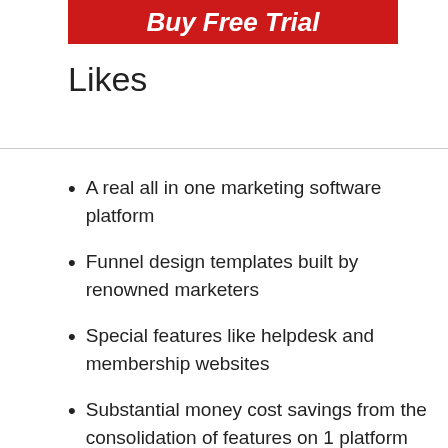[Figure (other): Red banner with white bold text partially visible at top, cropped, showing text starting with letters suggesting 'Buy Free Trial' or similar promotional heading]
Likes
A real all in one marketing software platform
Funnel design templates built by renowned marketers
Special features like helpdesk and membership websites
Substantial money cost savings from the consolidation of features on 1 platform